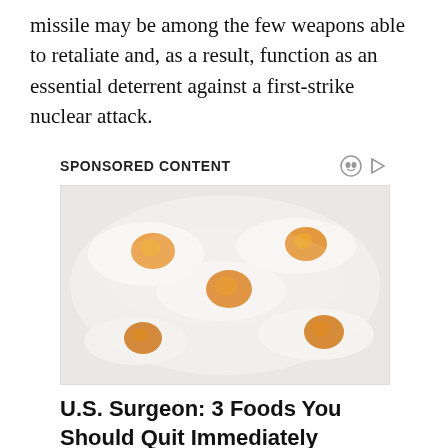missile may be among the few weapons able to retaliate and, as a result, function as an essential deterrent against a first-strike nuclear attack.
SPONSORED CONTENT
[Figure (photo): Photo of fried eggs on a pan, used as advertisement image.]
U.S. Surgeon: 3 Foods You Should Quit Immediately
guthealthwellness.com